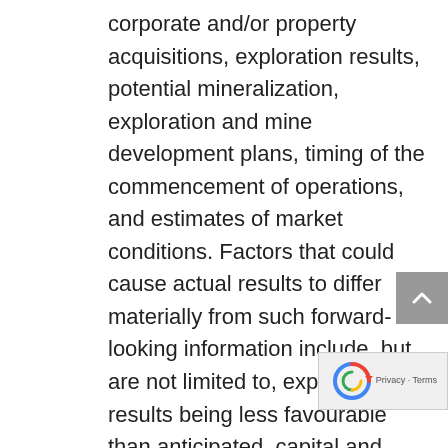corporate and/or property acquisitions, exploration results, potential mineralization, exploration and mine development plans, timing of the commencement of operations, and estimates of market conditions. Factors that could cause actual results to differ materially from such forward-looking information include, but are not limited to, exploration results being less favourable than anticipated, capital and operating costs varying significantly from estimates, delays in obtaining or failures to obtain required governmental, environmental or other project approvals, political risks, uncertainties relating to the availability and costs of financing needed in the future, changes in equity markets, inflation, changes in exchange rates, fluctuations in